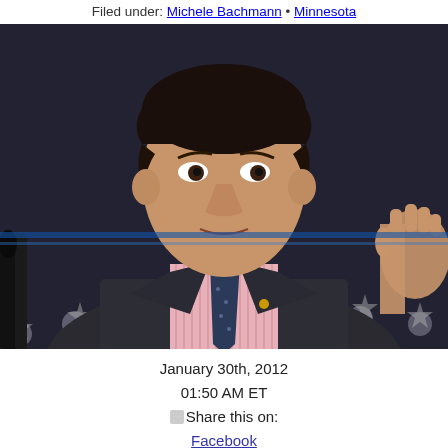Filed under: Michele Bachmann • Minnesota
[Figure (photo): A man in a dark suit with a pink striped shirt and dark tie speaking at a podium with microphones, gesturing with his right hand raised. American flag stars visible in the background.]
January 30th, 2012
01:50 AM ET
⊗Share this on:
Facebook